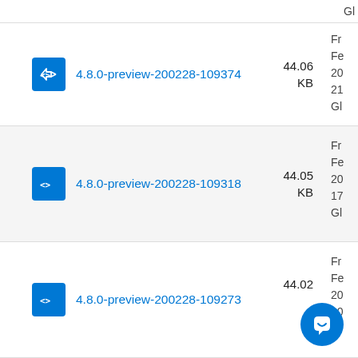4.8.0-preview-200228-109374 — 44.06 KB — Fr Fe 20 21 Gl
4.8.0-preview-200228-109318 — 44.05 KB — Fr Fe 20 17 Gl
4.8.0-preview-200228-109273 — 44.02 — Fr Fe 20 10 Gl